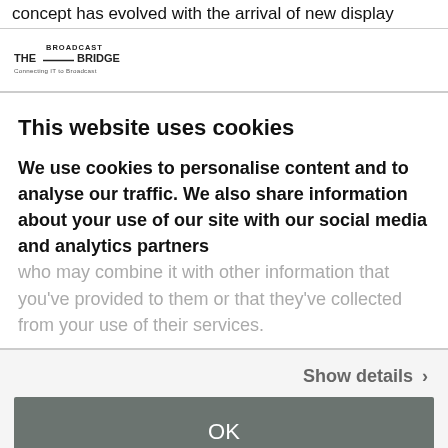concept has evolved with the arrival of new display
[Figure (logo): Broadcast The Bridge - Connecting IT to Broadcast logo]
This website uses cookies
We use cookies to personalise content and to analyse our traffic. We also share information about your use of our site with our social media and analytics partners who may combine it with other information that you've provided to them or that they've collected from your use of their services.
Show details ›
OK
Powered by Cookiebot by Usercentrics
[Figure (photo): Dark brownish image strip at the bottom of the page]